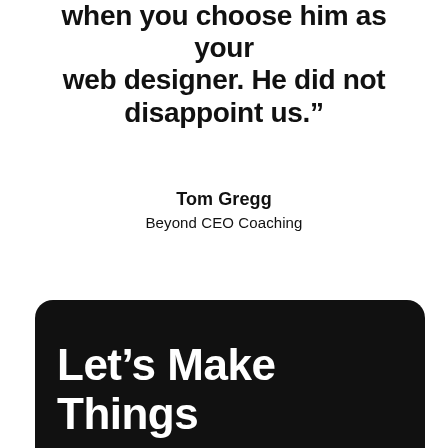when you choose him as your web designer. He did not disappoint us.”
Tom Gregg
Beyond CEO Coaching
Let’s Make Things